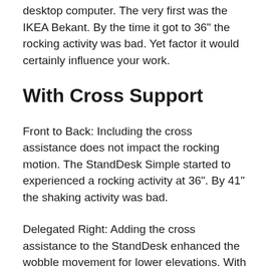desktop computer. The very first was the IKEA Bekant. By the time it got to 36″ the rocking activity was bad. Yet factor it would certainly influence your work.
With Cross Support
Front to Back: Including the cross assistance does not impact the rocking motion. The StandDesk Simple started to experienced a rocking activity at 36″. By 41″ the shaking activity was bad.
Delegated Right: Adding the cross assistance to the StandDesk enhanced the wobble movement for lower elevations. With the cross support the wobble movement really did not begin up until you got to 35″. By 39″